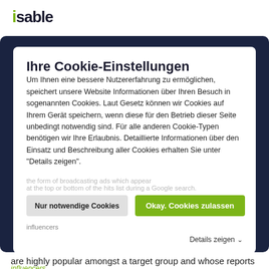isable
media posts) and shared. The company has little or no direct influence on categories (e.g. search terms or business.
Ihre Cookie-Einstellungen
Um Ihnen eine bessere Nutzererfahrung zu ermöglichen, speichert unsere Website Informationen über Ihren Besuch in sogenannten Cookies. Laut Gesetz können wir Cookies auf Ihrem Gerät speichern, wenn diese für den Betrieb dieser Seite unbedingt notwendig sind. Für alle anderen Cookie-Typen benötigen wir Ihre Erlaubnis. Detaillierte Informationen über den Einsatz und Beschreibung aller Cookies erhalten Sie unter "Details zeigen".
the form of broadcasting ads which appear at the top or bottom of the hits list during a Google search.
influencers
influencers are the main players of a social media appearance (e.g. on Instagram, in blogs, on YouTube) who are highly popular amongst a target group and whose reports are regularly and intensively adopted. The fact that influencers serve as multipliers, presenting products and services on